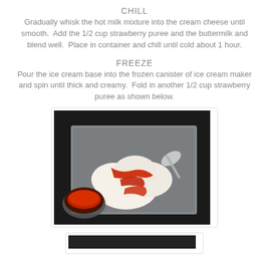CHILL
Gradually whisk the hot milk mixture into the cream cheese until smooth.  Add the 1/2 cup strawberry puree and the buttermilk and blend well.  Place in container and chill until cold about 1 hour.
FREEZE
Pour the ice cream base into the frozen canister of ice cream maker and spin until thick and creamy.  Fold in another 1/2 cup strawberry puree as shown below.
[Figure (photo): A metal tray containing scoops of white ice cream drizzled with red strawberry puree, with a small bowl of strawberry puree on the side, set on a dark countertop.]
[Figure (photo): Partial view of another photo at the bottom of the page.]